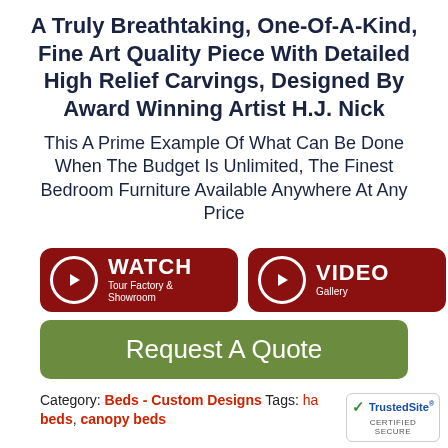A Truly Breathtaking, One-Of-A-Kind, Fine Art Quality Piece With Detailed High Relief Carvings, Designed By Award Winning Artist H.J. Nick
This A Prime Example Of What Can Be Done When The Budget Is Unlimited, The Finest Bedroom Furniture Available Anywhere At Any Price
[Figure (other): Two dark red rounded buttons: 'WATCH Tour Factory & Showroom' and 'VIDEO Gallery', each with a circular play icon]
[Figure (other): Green rounded button: 'Request A Quote']
Category: Beds - Custom Designs Tags: handcarved beds, canopy beds